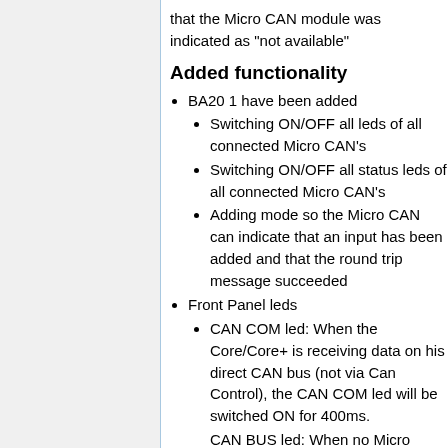that the Micro CAN module was indicated as "not available"
Added functionality
BA20 1 have been added
Switching ON/OFF all leds of all connected Micro CAN's
Switching ON/OFF all status leds of all connected Micro CAN's
Adding mode so the Micro CAN can indicate that an input has been added and that the round trip message succeeded
Front Panel leds
CAN COM led: When the Core/Core+ is receiving data on his direct CAN bus (not via Can Control), the CAN COM led will be switched ON for 400ms.
CAN BUS led: When no Micro...